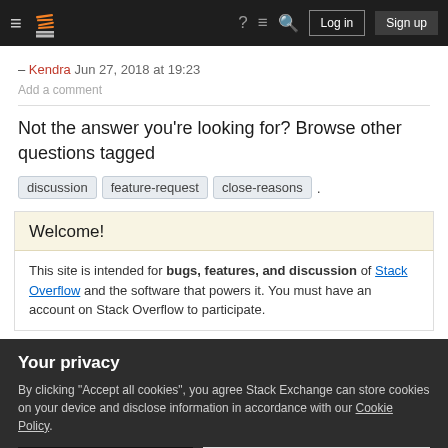Stack Overflow Meta — navigation bar with Log in and Sign up buttons
– Kendra Jun 27, 2018 at 19:23
Add a comment
Not the answer you're looking for? Browse other questions tagged discussion feature-request close-reasons .
Welcome!
This site is intended for bugs, features, and discussion of Stack Overflow and the software that powers it. You must have an account on Stack Overflow to participate.
Your privacy
By clicking "Accept all cookies", you agree Stack Exchange can store cookies on your device and disclose information in accordance with our Cookie Policy.
Accept all cookies   Customize settings
Stack Overflow is hiring a Stack Overflow